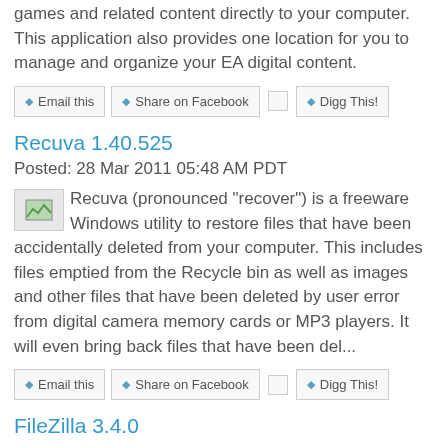games and related content directly to your computer. This application also provides one location for you to manage and organize your EA digital content.
Email this | Share on Facebook | Digg This!
Recuva 1.40.525
Posted: 28 Mar 2011 05:48 AM PDT
Recuva (pronounced "recover") is a freeware Windows utility to restore files that have been accidentally deleted from your computer. This includes files emptied from the Recycle bin as well as images and other files that have been deleted by user error from digital camera memory cards or MP3 players. It will even bring back files that have been del...
Email this | Share on Facebook | Digg This!
FileZilla 3.4.0